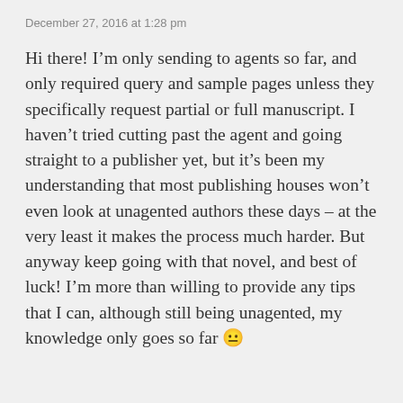December 27, 2016 at 1:28 pm
Hi there! I’m only sending to agents so far, and only required query and sample pages unless they specifically request partial or full manuscript. I haven’t tried cutting past the agent and going straight to a publisher yet, but it’s been my understanding that most publishing houses won’t even look at unagented authors these days – at the very least it makes the process much harder. But anyway keep going with that novel, and best of luck! I’m more than willing to provide any tips that I can, although still being unagented, my knowledge only goes so far 😐